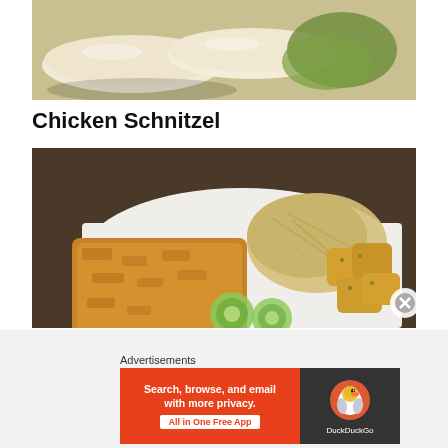[Figure (photo): Close-up photo of white dumplings or pierogi with a glossy sauce on a plate with lettuce garnish]
Chicken Schnitzel
[Figure (photo): Photo of a plate with chicken schnitzel, roasted potato cubes with herbs, shredded cabbage, and cucumber slices on a white plate]
Advertisements
[Figure (screenshot): DuckDuckGo advertisement banner: 'Search, browse, and email with more privacy. All in One Free App' on orange background with DuckDuckGo logo on dark right panel]